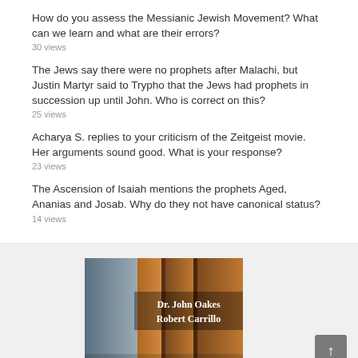How do you assess the Messianic Jewish Movement? What can we learn and what are their errors?
30 views
The Jews say there were no prophets after Malachi, but Justin Martyr said to Trypho that the Jews had prophets in succession up until John. Who is correct on this?
25 views
Acharya S. replies to your criticism of the Zeitgeist movie. Her arguments sound good. What is your response?
23 views
The Ascension of Isaiah mentions the prophets Aged, Ananias and Josab. Why do they not have canonical status?
14 views
[Figure (photo): Book cover showing Dr. John Oakes and Robert Carrillo, with wooden panel background in brown and grey tones]